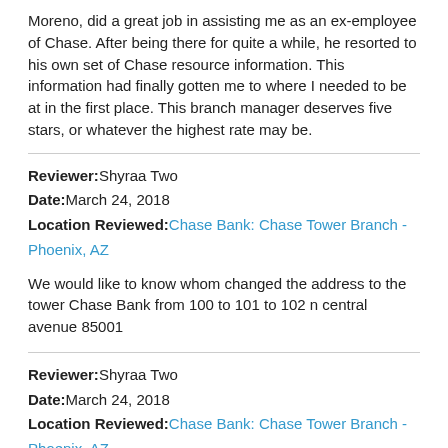Moreno, did a great job in assisting me as an ex-employee of Chase. After being there for quite a while, he resorted to his own set of Chase resource information. This information had finally gotten me to where I needed to be at in the first place. This branch manager deserves five stars, or whatever the highest rate may be.
Reviewer: Shyraa Two
Date: March 24, 2018
Location Reviewed: Chase Bank: Chase Tower Branch - Phoenix, AZ
We would like to know whom changed the address to the tower Chase Bank from 100 to 101 to 102 n central avenue 85001
Reviewer: Shyraa Two
Date: March 24, 2018
Location Reviewed: Chase Bank: Chase Tower Branch - Phoenix, AZ